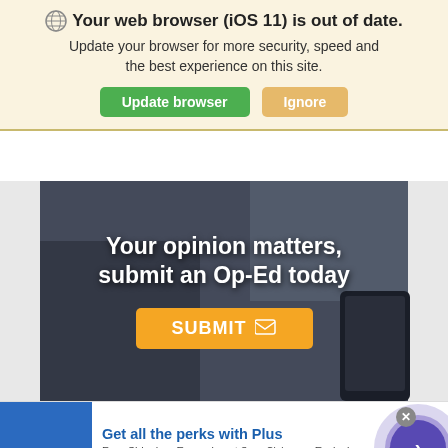🌐 Your web browser (iOS 11) is out of date. Update your browser for more security, speed and the best experience on this site.
[Figure (screenshot): Hero image with military person using a tablet, dark overlay, text 'Your opinion matters, submit an Op-Ed today' with an orange SUBMIT button]
[Figure (infographic): Sam's Club advertisement banner: 'Get all the perks with Plus - Free Shipping. Every day at SamsClub.com. Exclusions apply. www.samsclub.com']